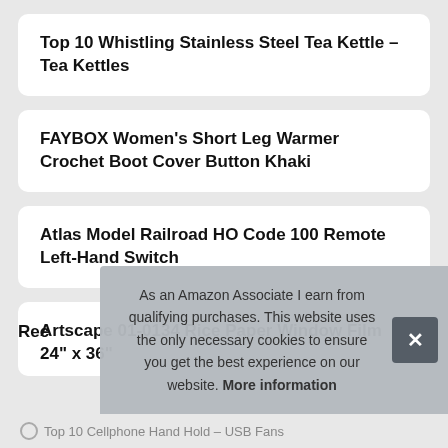Top 10 Whistling Stainless Steel Tea Kettle – Tea Kettles
FAYBOX Women's Short Leg Warmer Crochet Boot Cover Button Khaki
Atlas Model Railroad HO Code 100 Remote Left-Hand Switch
Artscape 01-0134 Rice Paper Window Film 24" x 36"
Rec
As an Amazon Associate I earn from qualifying purchases. This website uses the only necessary cookies to ensure you get the best experience on our website. More information
Top 10 Cellphone Hand Hold – USB Fans